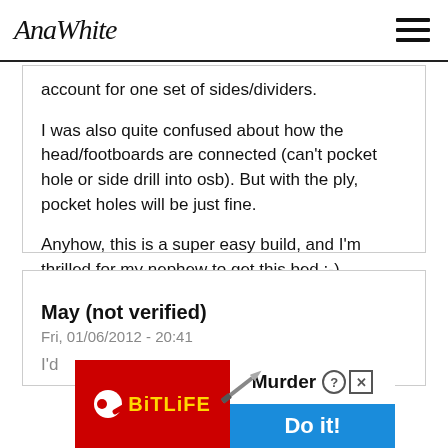AnaWhite
account for one set of sides/dividers.
I was also quite confused about how the head/footboards are connected (can't pocket hole or side drill into osb). But with the ply, pocket holes will be just fine.
Anyhow, this is a super easy build, and I'm thrilled for my nephew to get this bed :-)
Log in or register to post comments
May (not verified)
Fri, 01/06/2012 - 20:41
I'd
[Figure (screenshot): BitLife advertisement banner with murder theme, showing red background with BitLife logo on left and blue 'Do it!' button on right]